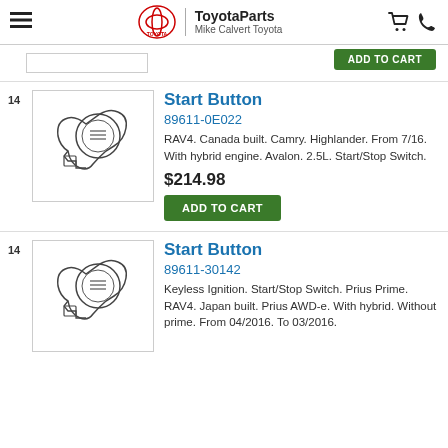ToyotaParts Mike Calvert Toyota
[Figure (illustration): Line drawing of Toyota start button - partial view at top]
ADD TO CART
Start Button
89611-0E022
RAV4. Canada built. Camry. Highlander. From 7/16. With hybrid engine. Avalon. 2.5L. Start/Stop Switch.
$214.98
ADD TO CART
Start Button
89611-30142
Keyless Ignition. Start/Stop Switch. Prius Prime. RAV4. Japan built. Prius AWD-e. With hybrid. Without prime. From 04/2016. To 03/2016.